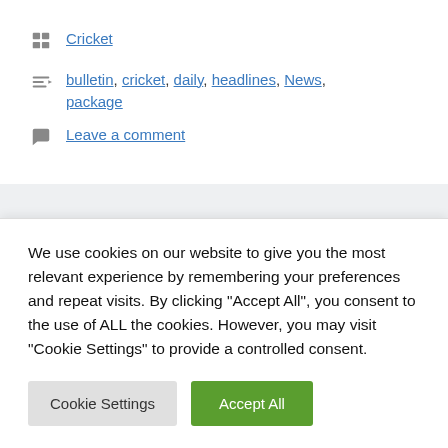Cricket
bulletin, cricket, daily, headlines, News, package
Leave a comment
Men's Hundred 2022
We use cookies on our website to give you the most relevant experience by remembering your preferences and repeat visits. By clicking "Accept All", you consent to the use of ALL the cookies. However, you may visit "Cookie Settings" to provide a controlled consent.